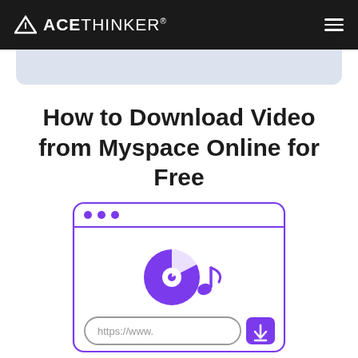ACETHINKER®
How to Download Video from Myspace Online for Free
[Figure (illustration): Browser window illustration with purple border showing three dots at top left, a horizontal divider line, a music/disc icon with musical note in purple, a URL input field showing 'https://www.' and a purple download button with arrow icon]